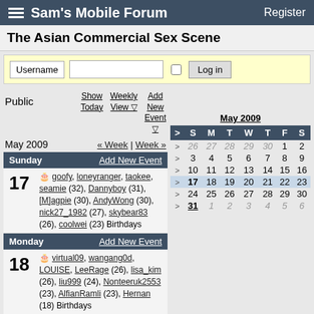Sam's Mobile Forum  Register
The Asian Commercial Sex Scene
Username  Log in
Public  Show Today  Weekly View  Add New Event
May 2009  « Week | Week »
Sunday  Add New Event
17  goofy, loneyranger, taokee, seamie (32), Dannyboy (31), [M]agpie (30), AndyWong (30), nick27_1982 (27), skybear83 (26), coolwei (23) Birthdays
Monday  Add New Event
18  virtual09, wangang0d, LOUISE, LeeRage (26), lisa_kim (26), liu999 (24), Nonteeruk2553 (23), AlfianRamli (23), Hernan (18) Birthdays
[Figure (other): May 2009 mini calendar with S M T W T F S headers, showing weeks with row highlight on week of 17]